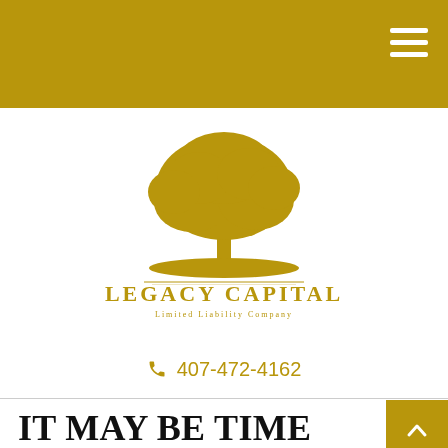[Figure (logo): Legacy Capital logo: gold tree silhouette above grass, text 'LEGACY CAPITAL' in gold uppercase serif font with tagline 'Limited Liability Company']
407-472-4162
IT MAY BE TIME FOR A FINANCIAL CHECKUP